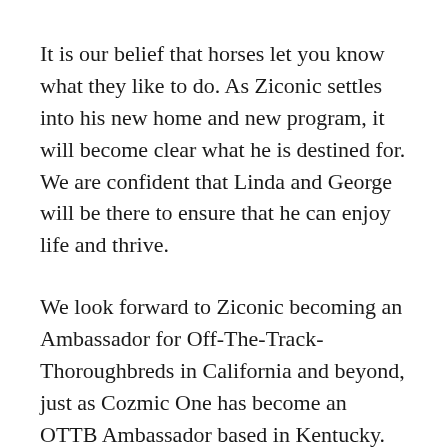It is our belief that horses let you know what they like to do. As Ziconic settles into his new home and new program, it will become clear what he is destined for. We are confident that Linda and George will be there to ensure that he can enjoy life and thrive.
We look forward to Ziconic becoming an Ambassador for Off-The-Track-Thoroughbreds in California and beyond, just as Cozmic One has become an OTTB Ambassador based in Kentucky.
Linda & George recently shared two things that they have been learning about Ziconic. He is...